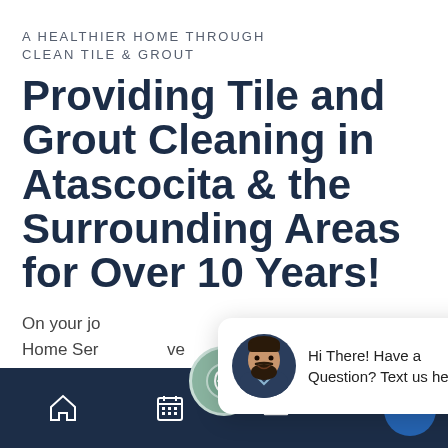A HEALTHIER HOME THROUGH CLEAN TILE & GROUT
Providing Tile and Grout Cleaning in Atascocita & the Surrounding Areas for Over 10 Years!
On your journey to a healthier home, UpFront Home Ser[vices] ... [we] have the deep c[lean your home needs] and deserve[s].
[Figure (screenshot): Chat popup widget showing a bearded avatar character and the text 'Hi There! Have a Question? Text us here.' with a close (×) button]
[Figure (screenshot): Mobile bottom navigation bar with home icon, calendar icon, center circular logo button, hamburger menu icon, and a blue chat bubble button]